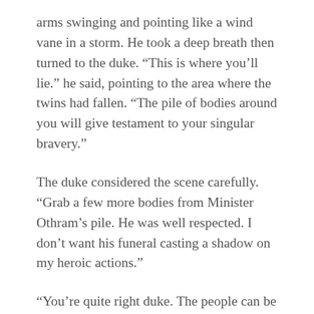arms swinging and pointing like a wind vane in a storm. He took a deep breath then turned to the duke. “This is where you’ll lie.” he said, pointing to the area where the twins had fallen. “The pile of bodies around you will give testament to your singular bravery.”
The duke considered the scene carefully. “Grab a few more bodies from Minister Othram’s pile. He was well respected. I don’t want his funeral casting a shadow on my heroic actions.”
“You’re quite right duke. The people can be fickle.”  Calvius said, then rushed off while he called out instructions, “If you are going to use that body you have to bring the head! Holy Builder’s Beard – a man’s head you idiot!”
Duke Rathstone looked around and then at the Alfhiran pocket watch he always carried. Time to wrap up, he